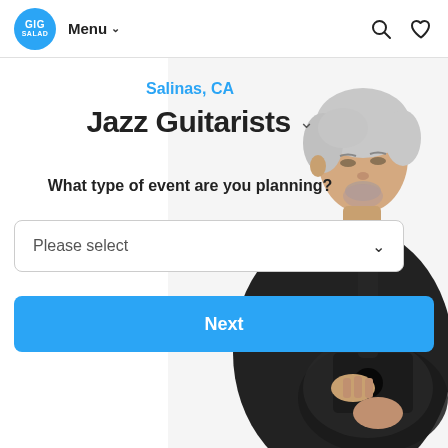GIG SALAD | Menu | Search | Favorites
[Figure (photo): Older man with grey hair playing a dark jazz guitar, wearing a black jacket, photographed from the right side on a white background]
Salinas, CA
Jazz Guitarists
What type of event are you planning?
Please select
Next